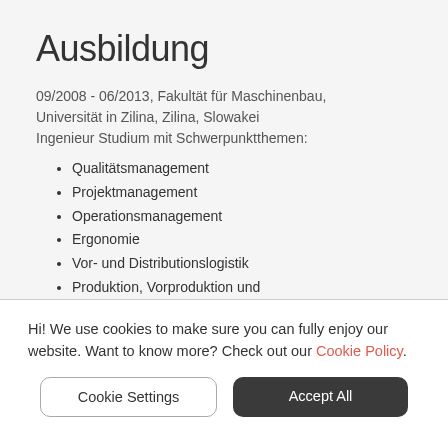Ausbildung
09/2008 - 06/2013, Fakultät für Maschinenbau, Universität in Zilina, Zilina, Slowakei
Ingenieur Studium mit Schwerpunktthemen:
Qualitätsmanagement
Projektmanagement
Operationsmanagement
Ergonomie
Vor- und Distributionslogistik
Produktion, Vorproduktion und Montageprozesse Design
Lean Produktion
Hi! We use cookies to make sure you can fully enjoy our website. Want to know more? Check out our Cookie Policy.